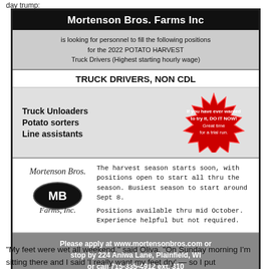day trump:
[Figure (infographic): Mortenson Bros. Farms Inc job advertisement for 2022 Potato Harvest positions including Truck Drivers Non CDL, Truck Unloaders, Potato sorters, Line assistants. Contains starburst graphic with text 'If you have ever wanted to try it, DO IT NOW! Great time for a trial run.' Logo with MB initials. Footer with website and contact info.]
“My feet were wet all weekend.” said Oliva. “On Sunday morning I’m sitting there and I said ‘I really want my feet dry’ — so I put